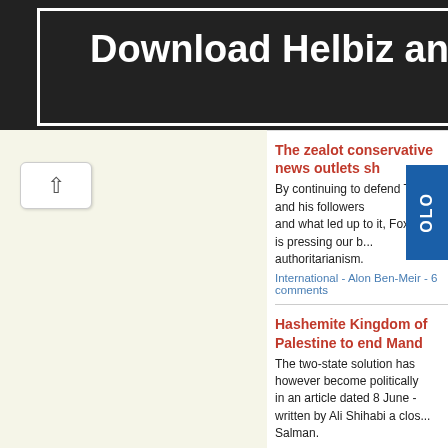[Figure (photo): Banner advertisement with text 'Download Helbiz and ride' on dark background]
The zealot conservative news outlets sh...
By continuing to defend Trump and his followers and what led up to it, Fox News is pressing our b... authoritarianism.
International - Alon Ben-Meir - 6 comments
Hashemite Kingdom of Palestine to end Mand...
The two-state solution has however become politically in an article dated 8 June - written by Ali Shihabi a clos... Salman.
International - David Singer - 9 comments
Monday, August 1, 2022
The importance of athletics (and a few nation...
But certain nations will prove crucial for any future CG Zealand and Canada which have hosted every CG sin... 1966, Malaysia 1998 and India 2010.
Sport - Chris Lewis - 6 comments
The most damning hearing yet